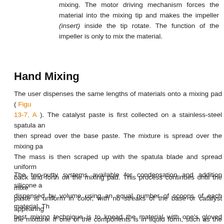mixing. The motor driving mechanism forces the material into the mixing tip and makes the impeller (insert) inside the tip rotate. The function of the impeller is only to mix the material.
Hand Mixing
The user dispenses the same lengths of materials onto a mixing pad ( Figure 13-7, A ). The catalyst paste is first collected on a stainless-steel spatula and then spread over the base paste. The mixture is spread over the mixing pad. The mass is then scraped up with the spatula blade and spread uniformly back and forth on the mixing pad. This process continues until the mixed paste is uniform in color, with no streaks of the base or catalyst appearing in the mixture. If one of the components is in liquid form, such as the catalyst for condensation silicones, a length of the base is dispensed from the tube onto a graduated mixing pad, and drops of the liquid catalyst corresponding to the length of the base are added.
The two-putty systems available for condensation and addition silicone are dispensed by volume using an equal number of scoops of each material. The best mixing technique is to knead the material with one's gloved fingers until a uniform color is obtained.